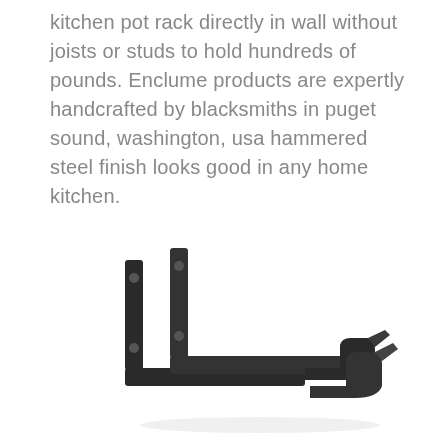kitchen pot rack directly in wall without joists or studs to hold hundreds of pounds. Enclume products are expertly handcrafted by blacksmiths in puget sound, washington, usa hammered steel finish looks good in any home kitchen.
[Figure (photo): A dark hammered steel wall-mount bracket for a kitchen pot rack, shown as a pair of L-shaped hooks with mounting holes, viewed in perspective against a white background.]